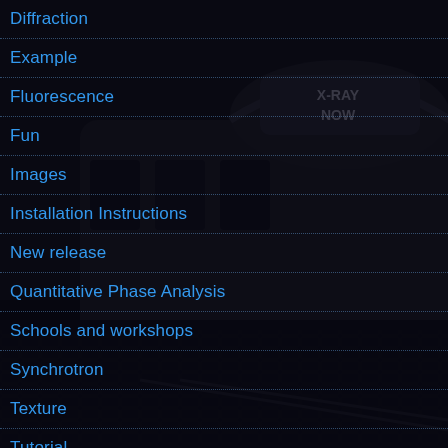[Figure (photo): Dark moody black and white photograph of a vintage tram or trolley car at night on wet cobblestone streets, with illuminated signage reading 'X-RAY NOW']
Diffraction
Example
Fluorescence
Fun
Images
Installation Instructions
New release
Quantitative Phase Analysis
Schools and workshops
Synchrotron
Texture
Tutorial
Uncategorized